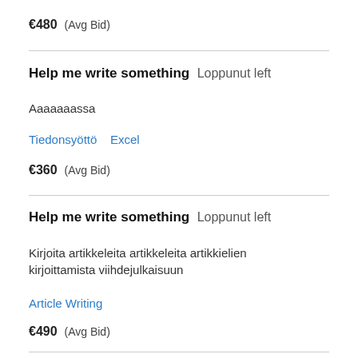€480  (Avg Bid)
Help me write something  Loppunut left
Aaaaaaassa
Tiedonsyöttö    Excel
€360  (Avg Bid)
Help me write something  Loppunut left
Kirjoita artikkeleita artikkielien kirjoittamista viihdejulkaisuun
Article Writing
€490  (Avg Bid)